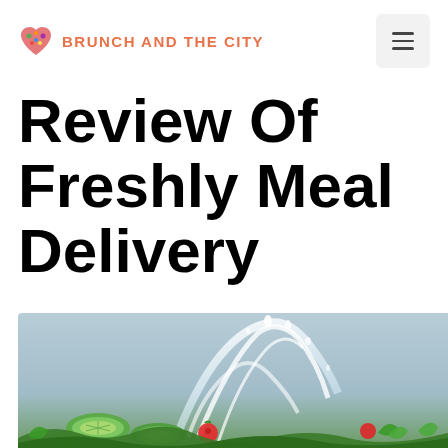BRUNCH AND THE CITY
Review Of Freshly Meal Delivery
[Figure (photo): Hero image showing fresh vegetables (cucumber slices, tomatoes, green herbs) with a water splash effect on a light blue-grey background]